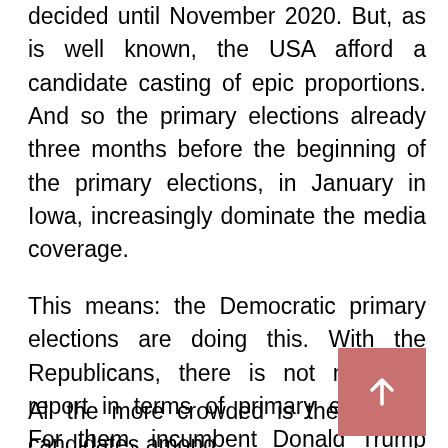decided until November 2020. But, as is well known, the USA afford a candidate casting of epic proportions. And so the primary elections already three months before the beginning of the primary elections, in January in Iowa, increasingly dominate the media coverage.
This means: the Democratic primary elections are doing this. With the Republicans, there is not much to report in terms of primary elections. For them, incumbent Donald Trump will once again be running for office.
All the more crowded is the field of candidates among